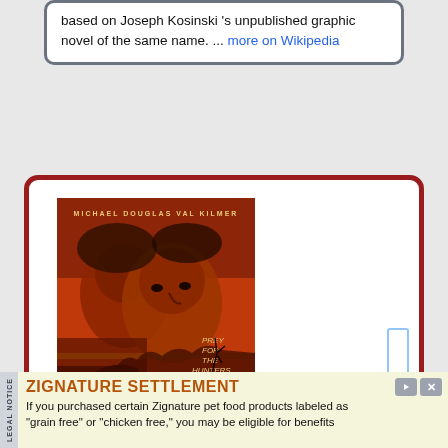based on Joseph Kosinski 's unpublished graphic novel of the same name. ... more on Wikipedia
[Figure (photo): Movie poster for 'The Ghost and the Darkness' featuring Michael Douglas and Val Kilmer. Orange/red toned poster with two men's faces and text 'Prey for the Hunters', 'THE GHOST AND THE DARKNESS'.]
ZIGNATURE SETTLEMENT
If you purchased certain Zignature pet food products labeled as "grain free" or "chicken free," you may be eligible for benefits